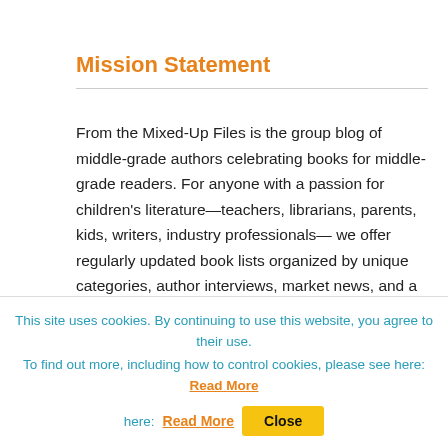Mission Statement
From the Mixed-Up Files is the group blog of middle-grade authors celebrating books for middle-grade readers. For anyone with a passion for children's literature—teachers, librarians, parents, kids, writers, industry professionals— we offer regularly updated book lists organized by unique categories, author interviews, market news, and a behind-the-scenes look at the making of a
This site uses cookies. By continuing to use this website, you agree to their use.
To find out more, including how to control cookies, please see here: Read More
Close